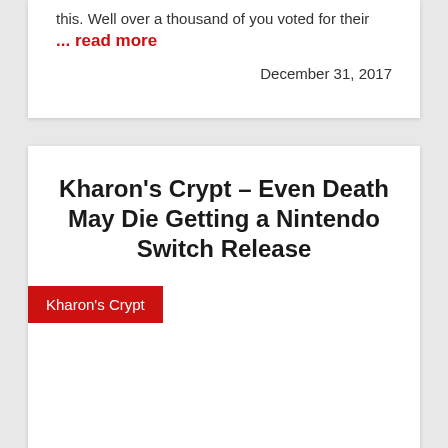this. Well over a thousand of you voted for their
... read more
December 31, 2017
Kharon's Crypt – Even Death May Die Getting a Nintendo Switch Release
Kharon's Crypt